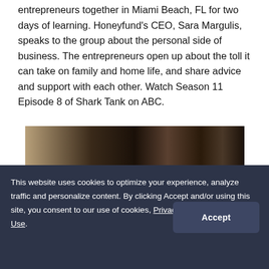entrepreneurs together in Miami Beach, FL for two days of learning. Honeyfund's CEO, Sara Margulis, speaks to the group about the personal side of business. The entrepreneurs open up about the toll it can take on family and home life, and share advice and support with each other. Watch Season 11 Episode 8 of Shark Tank on ABC.
[Figure (photo): Dark curtain/drape background photo strip, partial view of a room with curtains]
This website uses cookies to optimize your experience, analyze traffic and personalize content. By clicking Accept and/or using this site, you consent to our use of cookies, Privacy Policy and Terms of Use.